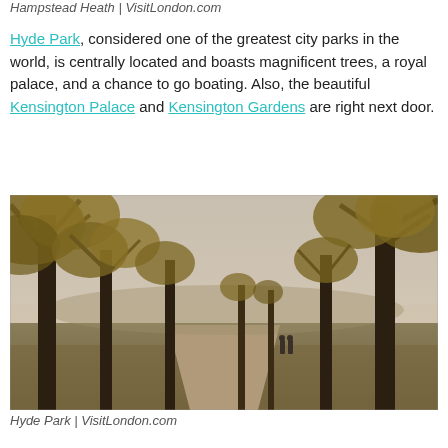Hampstead Heath | VisitLondon.com
Hyde Park, considered one of the greatest city parks in the world, is centrally located and boasts magnificent trees, a royal palace, and a chance to go boating. Also, the beautiful Kensington Palace and Kensington Gardens are right next door.
[Figure (photo): A wide avenue in Hyde Park lined with large autumn trees with golden-brown leaves. Two people walk in the distance along a path. The scene is misty and atmospheric.]
Hyde Park | VisitLondon.com